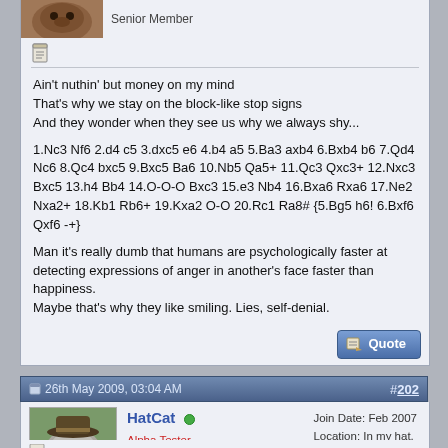Senior Member
Ain't nuthin' but money on my mind
That's why we stay on the block-like stop signs
And they wonder when they see us why we always shy...

1.Nc3 Nf6 2.d4 c5 3.dxc5 e6 4.b4 a5 5.Ba3 axb4 6.Bxb4 b6 7.Qd4 Nc6 8.Qc4 bxc5 9.Bxc5 Ba6 10.Nb5 Qa5+ 11.Qc3 Qxc3+ 12.Nxc3 Bxc5 13.h4 Bb4 14.O-O-O Bxc3 15.e3 Nb4 16.Bxa6 Rxa6 17.Ne2 Nxa2+ 18.Kb1 Rb6+ 19.Kxa2 O-O 20.Rc1 Ra8# {5.Bg5 h6! 6.Bxf6 Qxf6 -+}

Man it's really dumb that humans are psychologically faster at detecting expressions of anger in another's face faster than happiness.
Maybe that's why they like smiling. Lies, self-denial.
26th May 2009, 03:04 AM
#202
HatCat
Alpha Tester
Project Supporter
Senior Member
Join Date: Feb 2007
Location: In my hat.
Posts: 16,236